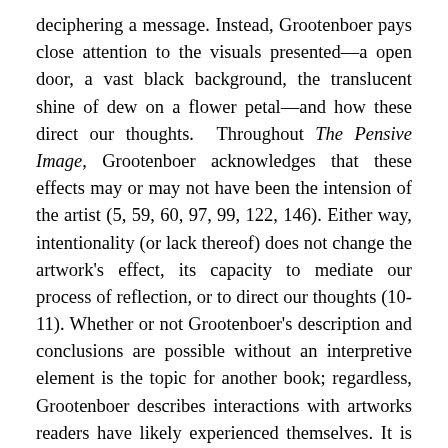deciphering a message. Instead, Grootenboer pays close attention to the visuals presented—a open door, a vast black background, the translucent shine of dew on a flower petal—and how these direct our thoughts. Throughout The Pensive Image, Grootenboer acknowledges that these effects may or may not have been the intension of the artist (5, 59, 60, 97, 99, 122, 146). Either way, intentionality (or lack thereof) does not change the artwork's effect, its capacity to mediate our process of reflection, or to direct our thoughts (10-11). Whether or not Grootenboer's description and conclusions are possible without an interpretive element is the topic for another book; regardless, Grootenboer describes interactions with artworks readers have likely experienced themselves. It is their description of our shared experience of artworks that makes Grootenboer's conception of the pensive image and its application so compelling.